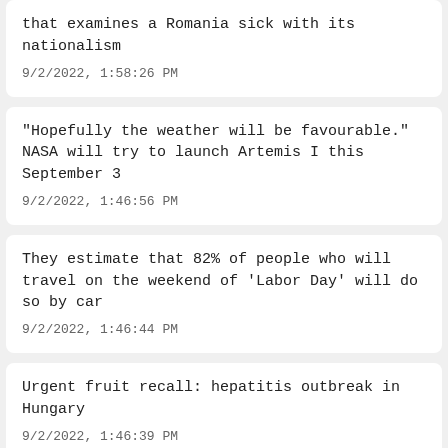that examines a Romania sick with its nationalism
9/2/2022, 1:58:26 PM
"Hopefully the weather will be favourable." NASA will try to launch Artemis I this September 3
9/2/2022, 1:46:56 PM
They estimate that 82% of people who will travel on the weekend of 'Labor Day' will do so by car
9/2/2022, 1:46:44 PM
Urgent fruit recall: hepatitis outbreak in Hungary
9/2/2022, 1:46:39 PM